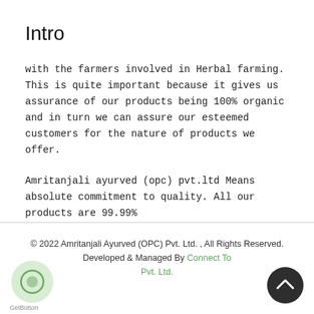Intro
with the farmers involved in Herbal farming. This is quite important because it gives us assurance of our products being 100% organic and in turn we can assure our esteemed customers for the nature of products we offer.
Amritanjali ayurved (opc) pvt.ltd Means absolute commitment to quality. All our products are 99.99%
© 2022 Amritanjali Ayurved (OPC) Pvt. Ltd. , All Rights Reserved. Developed & Managed By Connect To Pvt. Ltd.